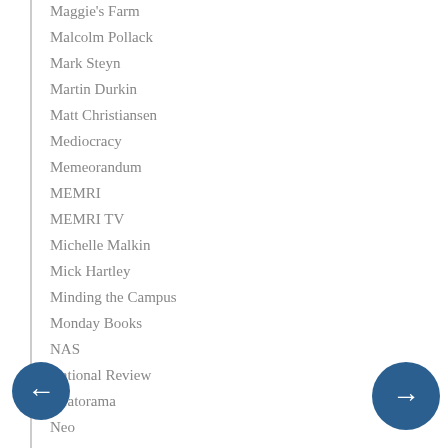Maggie's Farm
Malcolm Pollack
Mark Steyn
Martin Durkin
Matt Christiansen
Mediocracy
Memeorandum
MEMRI
MEMRI TV
Michelle Malkin
Mick Hartley
Minding the Campus
Monday Books
NAS
National Review
Neatorama
Neo
New Criterion
Noah Carl
Open Culture
Other McCain
Paula Wright
Paywall Tool
Ping-o-matic